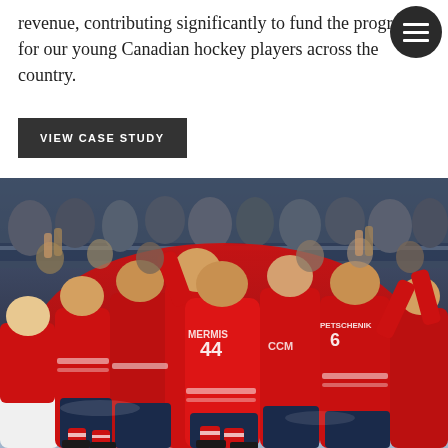revenue, contributing significantly to fund the programs for our young Canadian hockey players across the country.
VIEW CASE STUDY
[Figure (photo): Hockey players in red and white jerseys (including player MERMIS #44 and PETSCHENIK #6) celebrating on ice, piling together in excitement, with crowd visible in background.]